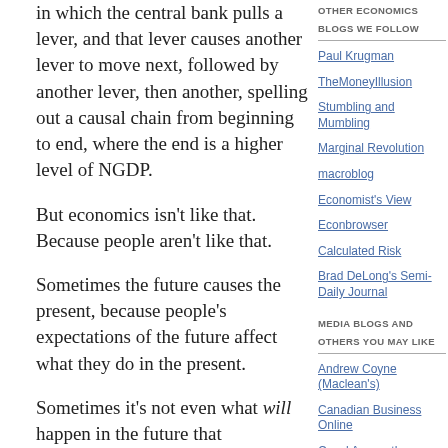in which the central bank pulls a lever, and that lever causes another lever to move next, followed by another lever, then another, spelling out a causal chain from beginning to end, where the end is a higher level of NGDP.
But economics isn't like that. Because people aren't like that.
Sometimes the future causes the present, because people's expectations of the future affect what they do in the present.
Sometimes it's not even what will happen in the future that
OTHER ECONOMICS BLOGS WE FOLLOW
Paul Krugman
TheMoneyIllusion
Stumbling and Mumbling
Marginal Revolution
macroblog
Economist's View
Econbrowser
Calculated Risk
Brad DeLong's Semi-Daily Journal
MEDIA BLOGS AND OTHERS YOU MAY LIKE
Andrew Coyne (Maclean's)
Canadian Business Online
Crawl Across the Ocean
Dan Gardner (Ottawa Citizen)
Paul Wells (Maclean's)